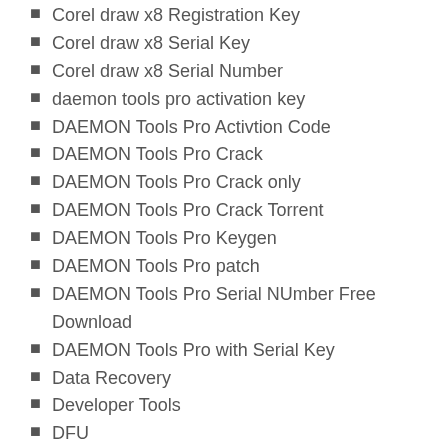Corel draw x8 Registration Key
Corel draw x8 Serial Key
Corel draw x8 Serial Number
daemon tools pro activation key
DAEMON Tools Pro Activtion Code
DAEMON Tools Pro Crack
DAEMON Tools Pro Crack only
DAEMON Tools Pro Crack Torrent
DAEMON Tools Pro Keygen
DAEMON Tools Pro patch
DAEMON Tools Pro Serial NUmber Free Download
DAEMON Tools Pro with Serial Key
Data Recovery
Developer Tools
DFU
DFU mode